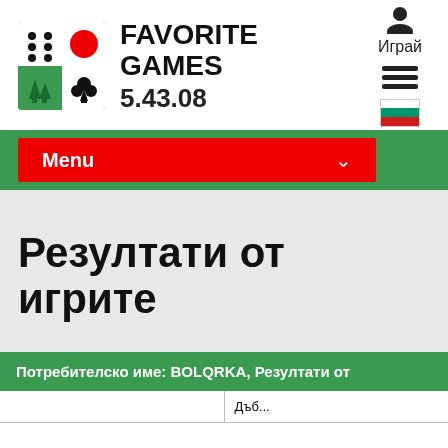[Figure (logo): Favorite Games logo with green box containing dice dots, red circle, green trees, and club card symbol, alongside text FAVORITE GAMES 5.43.08]
[Figure (infographic): Right side icons: person silhouette, text Играй, hamburger menu lines, Bulgarian flag]
[Figure (infographic): Green navigation bar with red Menu button and chevron dropdown]
Резултати от игрите
| Потребителско име: BOLQRKA, Резултати от |
| --- |
|  | Дъб... |